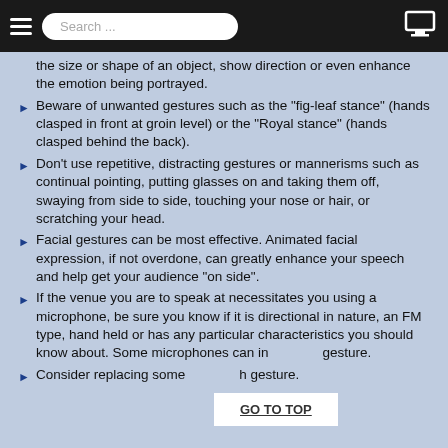Search ...
the size or shape of an object, show direction or even enhance the emotion being portrayed.
Beware of unwanted gestures such as the "fig-leaf stance" (hands clasped in front at groin level) or the "Royal stance" (hands clasped behind the back).
Don't use repetitive, distracting gestures or mannerisms such as continual pointing, putting glasses on and taking them off, swaying from side to side, touching your nose or hair, or scratching your head.
Facial gestures can be most effective. Animated facial expression, if not overdone, can greatly enhance your speech and help get your audience "on side".
If the venue you are to speak at necessitates you using a microphone, be sure you know if it is directional in nature, an FM type, hand held or has any particular characteristics you should know about. Some microphones can in gesture.
Consider replacing some h gesture.
GO TO TOP